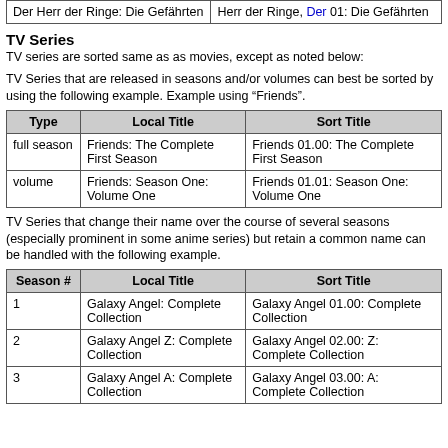|  |  |
| --- | --- |
| Der Herr der Ringe: Die Gefährten | Herr der Ringe, Der 01: Die Gefährten |
TV Series
TV series are sorted same as as movies, except as noted below:
TV Series that are released in seasons and/or volumes can best be sorted by using the following example. Example using "Friends".
| Type | Local Title | Sort Title |
| --- | --- | --- |
| full season | Friends: The Complete First Season | Friends 01.00: The Complete First Season |
| volume | Friends: Season One: Volume One | Friends 01.01: Season One: Volume One |
TV Series that change their name over the course of several seasons (especially prominent in some anime series) but retain a common name can be handled with the following example.
| Season # | Local Title | Sort Title |
| --- | --- | --- |
| 1 | Galaxy Angel: Complete Collection | Galaxy Angel 01.00: Complete Collection |
| 2 | Galaxy Angel Z: Complete Collection | Galaxy Angel 02.00: Z: Complete Collection |
| 3 | Galaxy Angel A: Complete Collection | Galaxy Angel 03.00: A: Complete Collection |